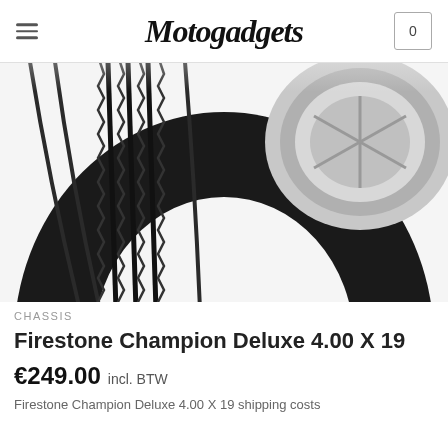Motogadgets
[Figure (photo): Close-up photo of a Firestone Champion Deluxe 4.00 X 19 tire mounted on a chrome wheel, showing the ribbed tread pattern on a black tire with silver rim]
CHASSIS
Firestone Champion Deluxe 4.00 X 19
€249.00 incl. BTW
Firestone Champion Deluxe 4.00 X 19 shipping costs